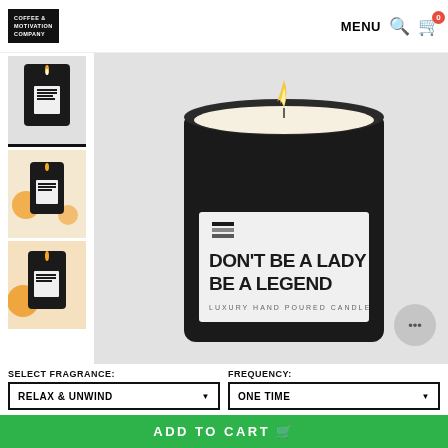COFFEE & MOTIVATION COMPANY | MENU 🔍 🛒 0
[Figure (photo): Thumbnail 1: black candle with white label reading DON'T BE A LADY BE A LEGEND, selected/active state]
[Figure (photo): Thumbnail 2: black candle with orange citrus fruits in background]
[Figure (photo): Thumbnail 3: black candle with orange background]
[Figure (photo): Main product photo: large black luxury candle with white label reading DON'T BE A LADY BE A LEGEND, with flame, LUXURY HAND POURED CANDLE text below]
SELECT FRAGRANCE:
FREQUENCY:
RELAX & UNWIND
ONE TIME
ADD TO CART 🛒